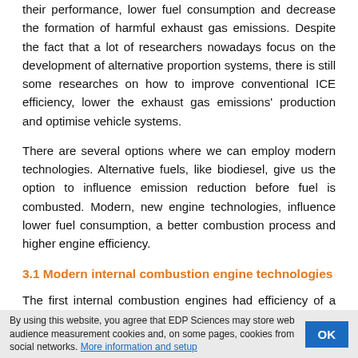their performance, lower fuel consumption and decrease the formation of harmful exhaust gas emissions. Despite the fact that a lot of researchers nowadays focus on the development of alternative proportion systems, there is still some researches on how to improve conventional ICE efficiency, lower the exhaust gas emissions' production and optimise vehicle systems.
There are several options where we can employ modern technologies. Alternative fuels, like biodiesel, give us the option to influence emission reduction before fuel is combusted. Modern, new engine technologies, influence lower fuel consumption, a better combustion process and higher engine efficiency.
3.1 Modern internal combustion engine technologies
The first internal combustion engines had efficiency of a few percent, which has now increased to almost 50% for heavy duty, low speed marine diesel engines. Current systems in internal combustion engines, like valve opening systems, lubrication systems, cooling systems, injection systems, etc., can be further optimised. It is expected that the sum of all possible improvements in engine systems, combined with additional friction
By using this website, you agree that EDP Sciences may store web audience measurement cookies and, on some pages, cookies from social networks. More information and setup